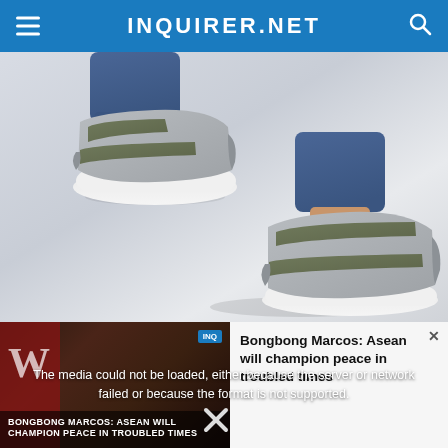INQUIRER.NET
[Figure (photo): Woman's feet wearing gray and dark olive athletic sandals with velcro straps and white soles, wearing blue jeans with a gold anklet, against a light gray-white background.]
[Figure (screenshot): Video player showing error message: 'The media could not be loaded, either because the server or network failed or because the format is not supported.' Overlaid on a news video thumbnail with text 'Bongbong Marcos: ASEAN will champion peace in troubled times'. An X close button visible at bottom.]
The media could not be loaded, either because the server or network failed or because the format is not supported.
Bongbong Marcos: ASEAN will champion peace in troubled times
BONGBONG MARCOS: ASEAN WILL CHAMPION PEACE IN TROUBLED TIMES